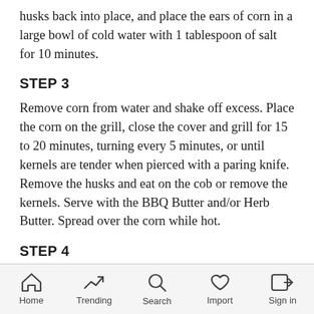husks back into place, and place the ears of corn in a large bowl of cold water with 1 tablespoon of salt for 10 minutes.
STEP 3
Remove corn from water and shake off excess. Place the corn on the grill, close the cover and grill for 15 to 20 minutes, turning every 5 minutes, or until kernels are tender when pierced with a paring knife. Remove the husks and eat on the cob or remove the kernels. Serve with the BBQ Butter and/or Herb Butter. Spread over the corn while hot.
STEP 4
Heat the oil in a medium saute pan over high heat
Home  Trending  Search  Import  Sign in